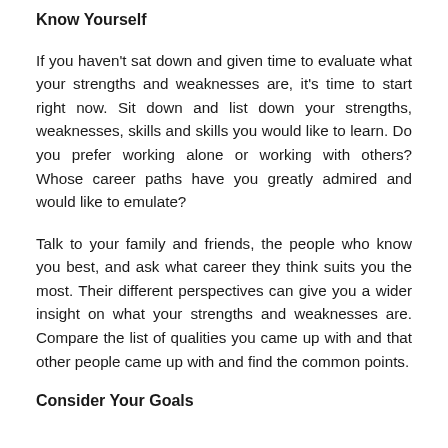Know Yourself
If you haven't sat down and given time to evaluate what your strengths and weaknesses are, it's time to start right now. Sit down and list down your strengths, weaknesses, skills and skills you would like to learn. Do you prefer working alone or working with others? Whose career paths have you greatly admired and would like to emulate?
Talk to your family and friends, the people who know you best, and ask what career they think suits you the most. Their different perspectives can give you a wider insight on what your strengths and weaknesses are. Compare the list of qualities you came up with and that other people came up with and find the common points.
Consider Your Goals